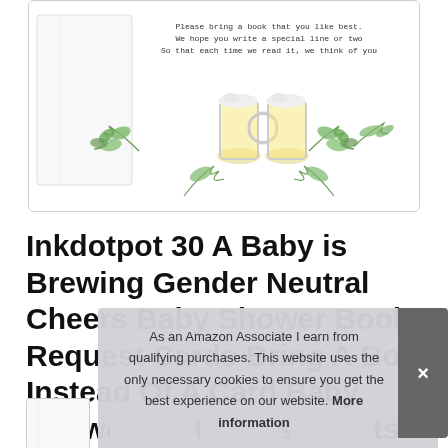[Figure (illustration): Product image showing a baby shower book request card with beer mugs toasting surrounded by greenery/leaves, displayed in a white bordered box. Card includes text about bringing a book.]
Inkdotpot 30 A Baby is Brewing Gender Neutral Cheers Baby Shower Book Request Cards Bring A Book Instead Of A Card Baby Shower Invitations Inserts Ga
As an Amazon Associate I earn from qualifying purchases. This website uses the only necessary cookies to ensure you get the best experience on our website. More information